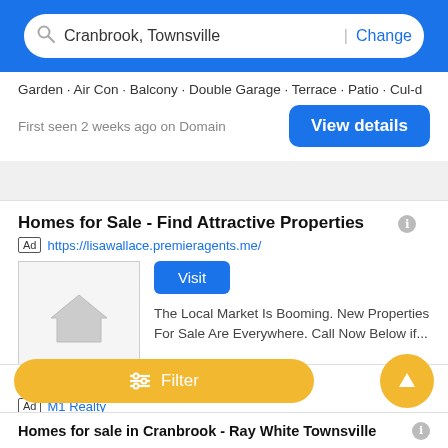Cranbrook, Townsville | Change
Garden · Air Con · Balcony · Double Garage · Terrace · Patio · Cul-d...
First seen 2 weeks ago on Domain
Homes for Sale - Find Attractive Properties
Ad  https://lisawallace.premieragents.me/
[Figure (illustration): House placeholder image with Visit button]
The Local Market Is Booming. New Properties For Sale Are Everywhere. Call Now Below if...
Call +61 7 5578 2346
Ad  M1 Realty
[Figure (illustration): House placeholder image with Call button]
Real Estate Agency Sales and Rental
Filter
Homes for sale in Cranbrook - Ray White Townsville